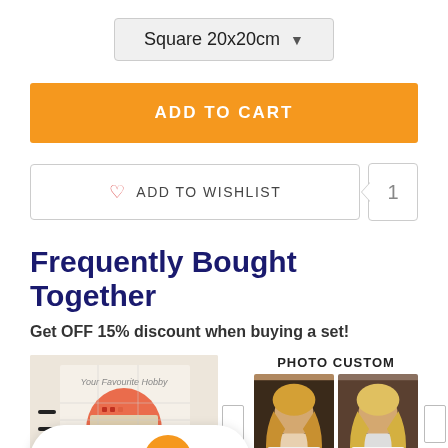Square 20x20cm
ADD TO CART
ADD TO WISHLIST
Frequently Bought Together
Get OFF 15% discount when buying a set!
[Figure (photo): Craft/diamond painting product image on left, photo custom portrait comparison images on right]
REWARDS